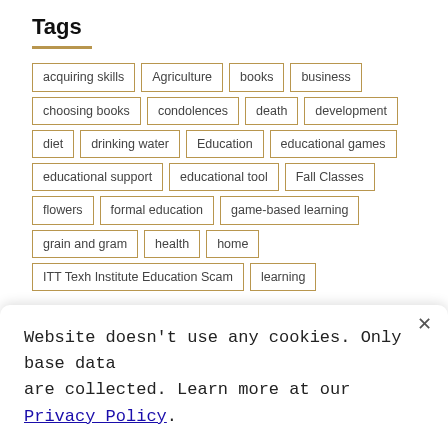Tags
acquiring skills
Agriculture
books
business
choosing books
condolences
death
development
diet
drinking water
Education
educational games
educational support
educational tool
Fall Classes
flowers
formal education
game-based learning
grain and gram
health
home
ITT Texh Institute Education Scam
learning
Website doesn't use any cookies. Only base data are collected. Learn more at our Privacy Policy.